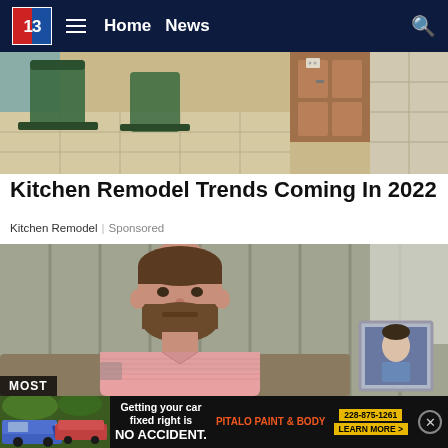13  ≡  Home  News  🔍
[Figure (photo): Kitchen interior showing green bar stools, wooden cabinets, and tiled floor]
Kitchen Remodel Trends Coming In 2022
Kitchen Remodel | Sponsored
[Figure (photo): Man in pink polo shirt with beard sitting on couch, with a framed photo visible in the background]
[Figure (photo): Advertisement: Getting your car fixed right is NO ACCIDENT. PITALO PAINT & BODY. 228-875-1261 LEARN MORE >]